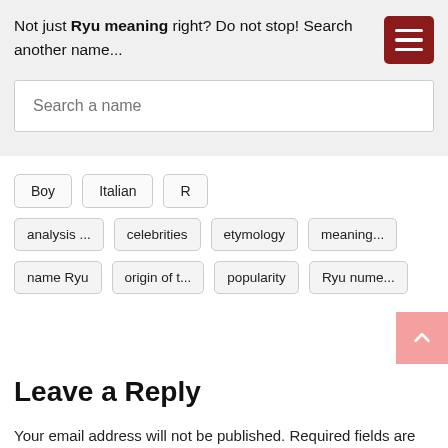Not just Ryu meaning right? Do not stop! Search another name...
[Figure (screenshot): Search a name input field with placeholder text]
Boy
Italian
R
analysis ...
celebrities
etymology
meaning...
name Ryu
origin of t...
popularity
Ryu nume...
Leave a Reply
Your email address will not be published. Required fields are marked *